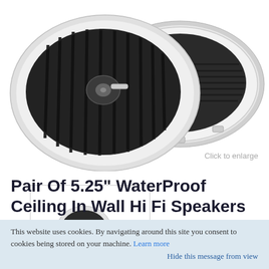[Figure (photo): Two white circular marine/waterproof speakers shown from above at an angle, with dark grilles and white rims. One speaker shows the front grille, the other shows the back mounting bracket.]
Click to enlarge
[Figure (photo): Small thumbnail image of a white waterproof speaker viewed from the side/back.]
Pair Of 5.25" WaterProof Ceiling In Wall Hi Fi Speakers Bathroom Boat Lounge
This website uses cookies. By navigating around this site you consent to cookies being stored on your machine. Learn more
Hide this message from view